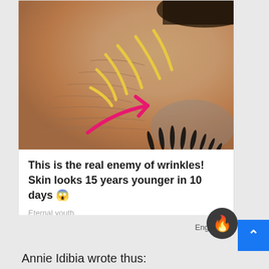[Figure (photo): Close-up photo of aged skin around an eye showing wrinkles, with yellow curved lines annotating the wrinkles and a pink arrow pointing to the wrinkle area]
This is the real enemy of wrinkles! Skin looks 15 years younger in 10 days 😱
Eternal youth
Eng
Annie Idibia wrote thus: